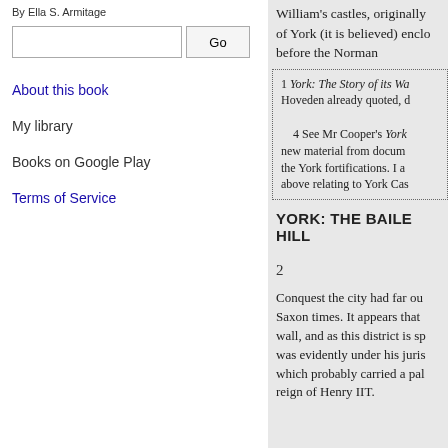By Ella S. Armitage
About this book
My library
Books on Google Play
Terms of Service
William's castles, originally of York (it is believed) enclo before the Norman
1 York: The Story of its Wa Hoveden already quoted, d
4 See Mr Cooper's York new material from docum the York fortifications. I a above relating to York Cas
YORK: THE BAILE HILL
2
Conquest the city had far ou Saxon times. It appears that wall, and as this district is sp was evidently under his juris which probably carried a pal reign of Henry IIT.